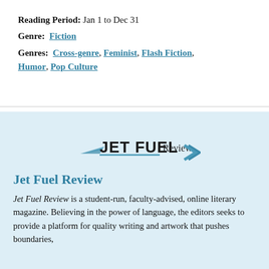Reading Period:  Jan 1 to Dec 31
Genre:  Fiction
Genres:  Cross-genre, Feminist, Flash Fiction, Humor, Pop Culture
[Figure (logo): Jet Fuel Review logo with stylized bold text 'JET FUEL' and lighter 'Review' text with angular swoosh lines]
Jet Fuel Review
Jet Fuel Review is a student-run, faculty-advised, online literary magazine. Believing in the power of language, the editors seeks to provide a platform for quality writing and artwork that pushes boundaries,